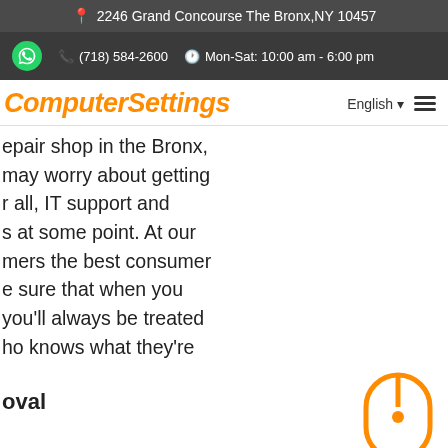2246 Grand Concourse The Bronx,NY 10457
(718) 584-2600  Mon-Sat: 10:00 am - 6:00 pm
ComputerSettings
epair shop in the Bronx, may worry about getting r all, IT support and s at some point. At our mers the best consumer e sure that when you you'll always be treated ho knows what they're
[Figure (illustration): Orange mouse icon outline on white background]
oval